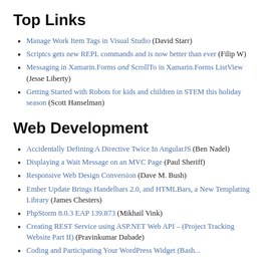Top Links
Manage Work Item Tags in Visual Studio (David Starr)
Scriptcs gets new REPL commands and is now better than ever (Filip W)
Messaging in Xamarin.Forms and ScrollTo in Xamarin.Forms ListView (Jesse Liberty)
Getting Started with Robots for kids and children in STEM this holiday season (Scott Hanselman)
Web Development
Accidentally Defining A Directive Twice In AngularJS (Ben Nadel)
Displaying a Wait Message on an MVC Page (Paul Sheriff)
Responsive Web Design Conversion (Dave M. Bush)
Ember Update Brings Handelbars 2.0, and HTMLBars, a New Templating Library (James Chesters)
PhpStorm 8.0.3 EAP 139.873 (Mikhail Vink)
Creating REST Service using ASP.NET Web API – (Project Tracking Website Part II) (Pravinkumar Dabade)
Coding and Participating Your WordPress Widget (Bash...)